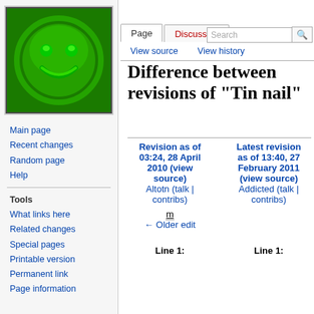Create account  Log in
[Figure (illustration): Wikipedia logo: green smiley face on dark green background]
Main page
Recent changes
Random page
Help
Tools
What links here
Related changes
Special pages
Printable version
Permanent link
Page information
Difference between revisions of "Tin nail"
| Revision as of 03:24, 28 April 2010 (view source) | Latest revision as of 13:40, 27 February 2011 (view source) |
| --- | --- |
| Altotn (talk | contribs) | Addicted (talk | contribs) |
| m
← Older edit |  |
| Line 1: | Line 1: |